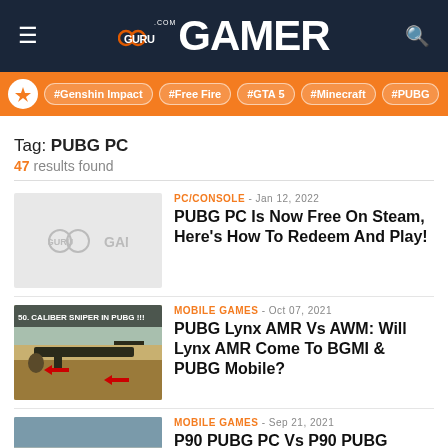GuruGamer.com
#Genshin Impact #Free Fire #GTA 5 #Minecraft #PUBG
Tag: PUBG PC
47 results found
PC/CONSOLE - Jan 12, 2022
PUBG PC Is Now Free On Steam, Here's How To Redeem And Play!
MOBILE GAMES - Oct 07, 2021
PUBG Lynx AMR Vs AWM: Will Lynx AMR Come To BGMI & PUBG Mobile?
MOBILE GAMES - Sep 21, 2021
P90 PUBG PC Vs P90 PUBG Mobile & BGMI | SMG Analysis